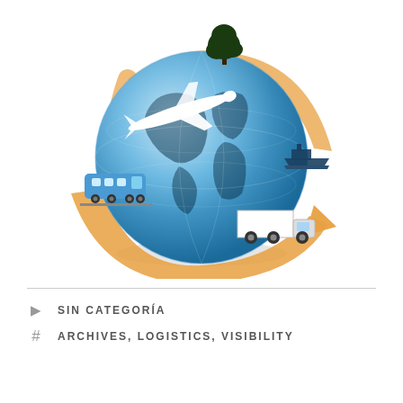[Figure (illustration): Global logistics illustration: a blue globe with land masses, surrounded by an orange circular arrow. A white airplane flies across the globe, a blue train is on the left, a white shipping truck is at the bottom, and a dark ship is on the right. A dark tree silhouette sits on top of the globe.]
SIN CATEGORÍA
ARCHIVES, LOGISTICS, VISIBILITY